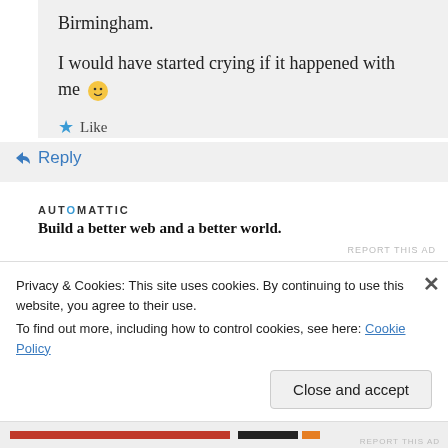Birmingham.
I would have started crying if it happened with me 🙂
★ Like
↳ Reply
[Figure (logo): AUTOMATTIC logo with tagline: Build a better web and a better world.]
REPORT THIS AD
Privacy & Cookies: This site uses cookies. By continuing to use this website, you agree to their use. To find out more, including how to control cookies, see here: Cookie Policy
Close and accept